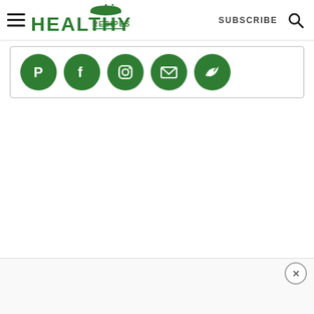Healthy Recipes | SUBSCRIBE
[Figure (logo): Healthy Recipes logo with green chef hat lid icon, text HEALTHY RECIPES in green uppercase letters]
[Figure (infographic): Row of five green circular social media icons: Pinterest, Facebook, Instagram/Email, Gmail/email, Twitter/other]
[Figure (other): Close button (X) in bottom right corner, circular outlined button]
Healthy Recipes Footer